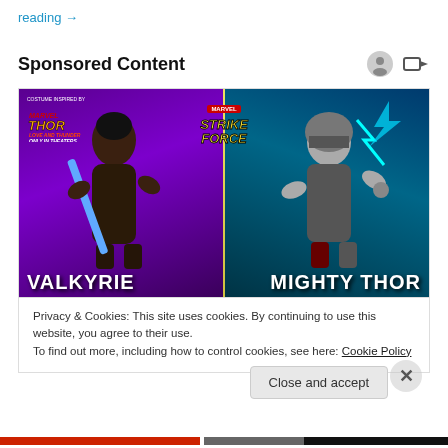reading →
Sponsored Content
[Figure (illustration): Marvel Strike Force promotional ad featuring Valkyrie (left) and Mighty Thor (right) characters. Purple background on left, teal/blue on right. Thor Love and Thunder logo in top-left. Marvel Strike Force logo across top center. Character names in large white bold text at bottom.]
Privacy & Cookies: This site uses cookies. By continuing to use this website, you agree to their use.
To find out more, including how to control cookies, see here: Cookie Policy
Close and accept